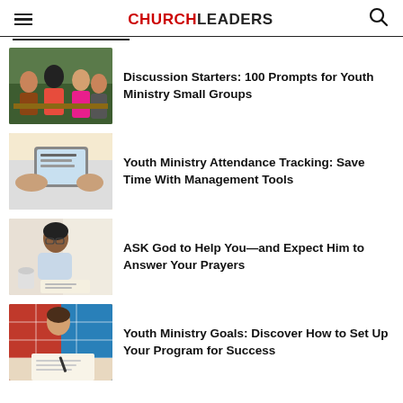CHURCHLEADERS
[Figure (photo): Group of young people smiling and talking around a table]
Discussion Starters: 100 Prompts for Youth Ministry Small Groups
[Figure (photo): Person holding a tablet device, reading]
Youth Ministry Attendance Tracking: Save Time With Management Tools
[Figure (photo): Woman praying with hands clasped, writing notes]
ASK God to Help You—and Expect Him to Answer Your Prayers
[Figure (photo): Person in plaid shirt writing notes at a desk]
Youth Ministry Goals: Discover How to Set Up Your Program for Success